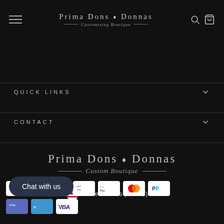Prima Dons ♦ Donnas — Customizing Boutique —
QUICK LINKS
CONTACT
[Figure (logo): Prima Dons & Donnas Custom Boutique logo — serif lettering with diamond icon, decorative horizontal lines flanking tagline]
United States (USD $)
Chat with us
[Figure (infographic): Payment method icons: Diners Club, Discover, Meta Pay, Google Pay, Mastercard, PayPal, Apple Pay, Venmo, Visa]